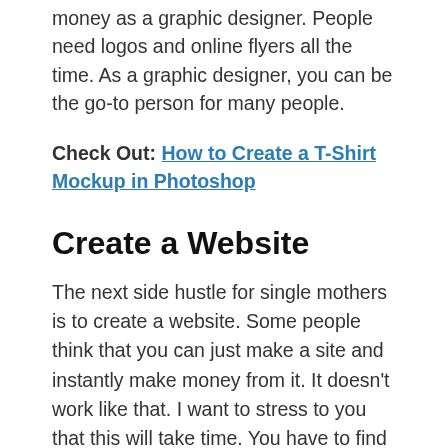money as a graphic designer. People need logos and online flyers all the time. As a graphic designer, you can be the go-to person for many people.
Check Out: How to Create a T-Shirt Mockup in Photoshop
Create a Website
The next side hustle for single mothers is to create a website. Some people think that you can just make a site and instantly make money from it. It doesn't work like that. I want to stress to you that this will take time. You have to find a niche and create valuable content that